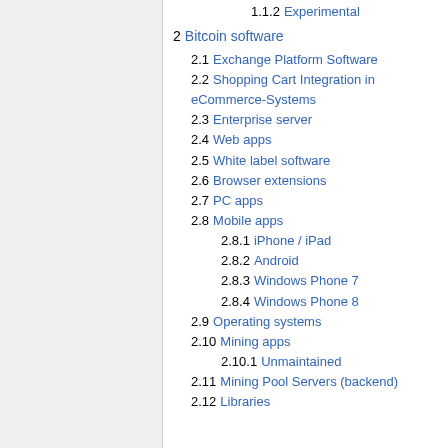1.1.2 Experimental
2 Bitcoin software
2.1 Exchange Platform Software
2.2 Shopping Cart Integration in eCommerce-Systems
2.3 Enterprise server
2.4 Web apps
2.5 White label software
2.6 Browser extensions
2.7 PC apps
2.8 Mobile apps
2.8.1 iPhone / iPad
2.8.2 Android
2.8.3 Windows Phone 7
2.8.4 Windows Phone 8
2.9 Operating systems
2.10 Mining apps
2.10.1 Unmaintained
2.11 Mining Pool Servers (backend)
2.12 Libraries